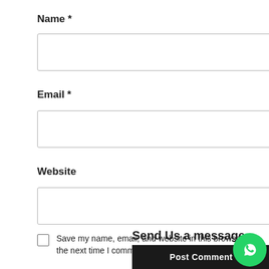Name *
[Figure (other): Empty text input field for Name]
Email *
[Figure (other): Empty text input field for Email]
Website
[Figure (other): Empty text input field for Website]
Save my name, email, and website in this browser for the next time I comment.
Send Us a message
Post Comment